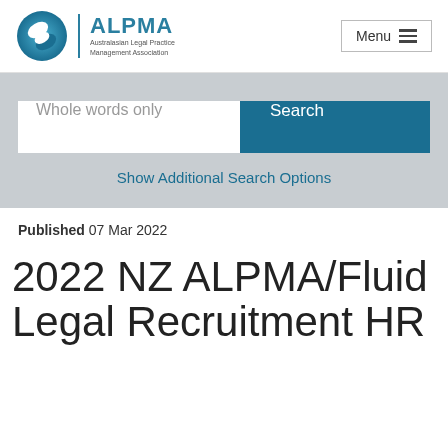[Figure (logo): ALPMA logo with circular blue icon and text 'ALPMA Australasian Legal Practice Management Association']
Menu
Whole words only
Search
Show Additional Search Options
Published 07 Mar 2022
2022 NZ ALPMA/Fluid Legal Recruitment HR